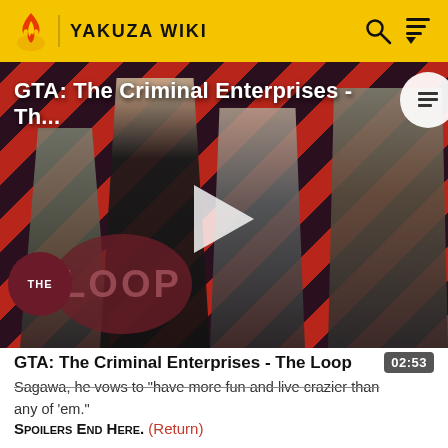YAKUZA WIKI
[Figure (screenshot): Video thumbnail for GTA: The Criminal Enterprises - The Loop, showing game characters against a red and dark diagonal striped background with 'THE LOOP' text and a play button overlay]
GTA: The Criminal Enterprises - The Loop
Sagawa, he vows to 'have more fun and live crazier than any of 'em.'
SPOILERS END HERE. (Return)